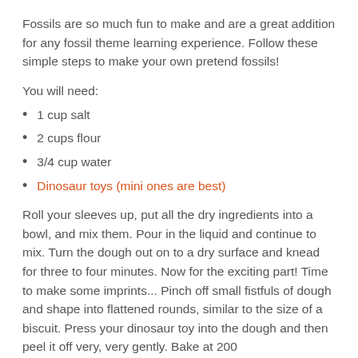Fossils are so much fun to make and are a great addition for any fossil theme learning experience. Follow these simple steps to make your own pretend fossils!
You will need:
1 cup salt
2 cups flour
3/4 cup water
Dinosaur toys (mini ones are best)
Roll your sleeves up, put all the dry ingredients into a bowl, and mix them. Pour in the liquid and continue to mix. Turn the dough out on to a dry surface and knead for three to four minutes. Now for the exciting part! Time to make some imprints... Pinch off small fistfuls of dough and shape into flattened rounds, similar to the size of a biscuit. Press your dinosaur toy into the dough and then peel it off very, very gently. Bake at 200